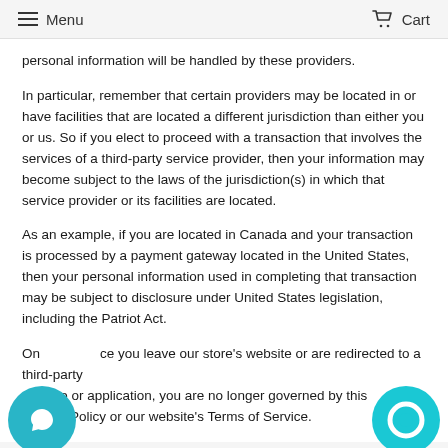Menu   Cart
personal information will be handled by these providers.
In particular, remember that certain providers may be located in or have facilities that are located a different jurisdiction than either you or us. So if you elect to proceed with a transaction that involves the services of a third-party service provider, then your information may become subject to the laws of the jurisdiction(s) in which that service provider or its facilities are located.
As an example, if you are located in Canada and your transaction is processed by a payment gateway located in the United States, then your personal information used in completing that transaction may be subject to disclosure under United States legislation, including the Patriot Act.
Once you leave our store's website or are redirected to a third-party website or application, you are no longer governed by this Privacy Policy or our website's Terms of Service.